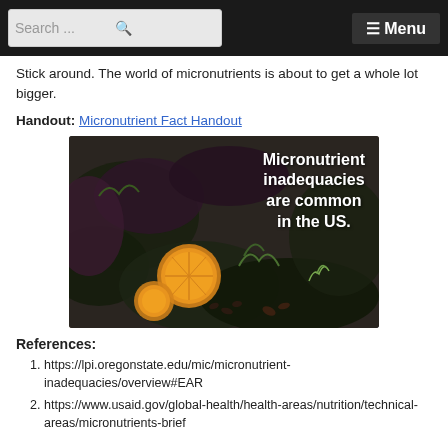Search ...  ≡ Menu
Stick around. The world of micronutrients is about to get a whole lot bigger.
Handout: Micronutrient Fact Handout
[Figure (photo): Photo of a dark leafy green salad with orange slices and mixed greens, with overlay text: 'Micronutrient inadequacies are common in the US.']
References:
https://lpi.oregonstate.edu/mic/micronutrient-inadequacies/overview#EAR
https://www.usaid.gov/global-health/health-areas/nutrition/technical-areas/micronutrients-brief